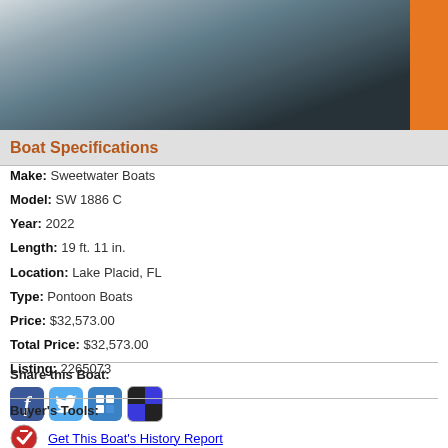[Figure (photo): Photo of boats reflected in water, metallic silver hulls with dark reflections. Orange bar on right side.]
Boat Specifications
Make: Sweetwater Boats
Model: SW 1886 C
Year: 2022
Length: 19 ft. 11 in.
Location: Lake Placid, FL
Type: Pontoon Boats
Price: $32,573.00
Total Price: $32,573.00
Listing: 2265073
Share this Boat:
[Figure (other): Social sharing icons: Facebook, Twitter, Google Plus, Delicious]
Buyer's Tools:
Get This Boat's History Report
Finance Your New Boat